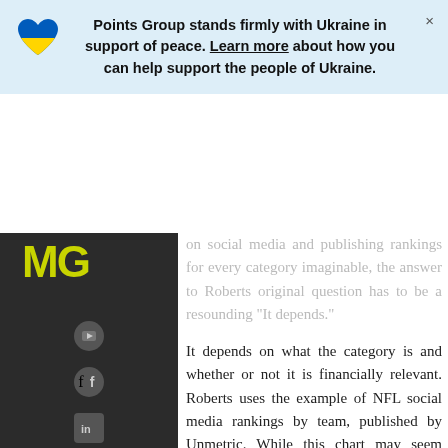Points Group stands firmly with Ukraine in support of peace. Learn more about how you can help support the people of Ukraine.
on social media and publishing rankings for every category imaginable, the answer to Roberts original question has to be a resounding “It depends.”
It depends on what the category is and whether or not it is financially relevant. Roberts uses the example of NFL social media rankings by team, published by Unmetric. While this chart may seem utterly pointless at first glance, when you think about the financial ramifications, this chart becomes fairly important. The number of Facebook and Twitter followers of each NFL team is no doubt a reflection on the size of their fan base, and since NFL teams are businesses,